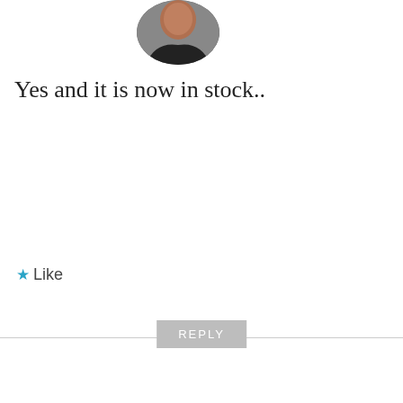[Figure (photo): Circular avatar photo of a person wearing dark clothing, cropped at the top]
Yes and it is now in stock..
★ Like
REPLY
[Figure (logo): Alchemist user avatar logo: orange/red diamond pattern arranged in a grid, resembling a decorative tile motif]
Alchemist
JUNE 5, 2014 AT 3:13 PM
When will Moto G be
Advertisements
[Figure (screenshot): Day One journaling app advertisement banner: blue background with Day One logo and text 'The only journaling app you'll ever need.']